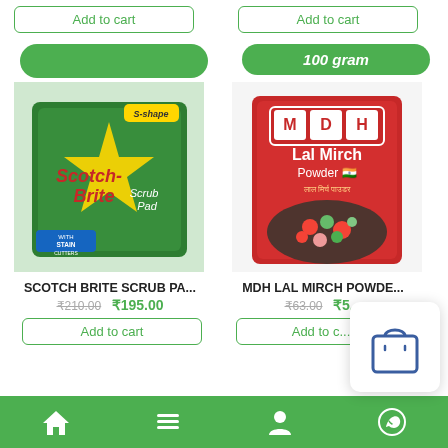[Figure (screenshot): E-commerce grocery/household app product listing page showing two products: Scotch Brite Scrub Pad and MDH Lal Mirch Powder, with prices, add to cart buttons, and bottom navigation bar.]
Add to cart
Add to cart
100 gram
[Figure (photo): Scotch Brite Scrub Pad product image - green packaging with S-shape label and Scotch-Brite Scrub Pad branding with Stain Cutters]
[Figure (photo): MDH Lal Mirch Powder product image - red packaging with MDH logo and Lal Mirch Powder text with vegetable dish photo]
SCOTCH BRITE SCRUB PA...
₹210.00  ₹195.00
Add to cart
MDH LAL MIRCH POWDE...
₹63.00  ₹5...
Add to c...